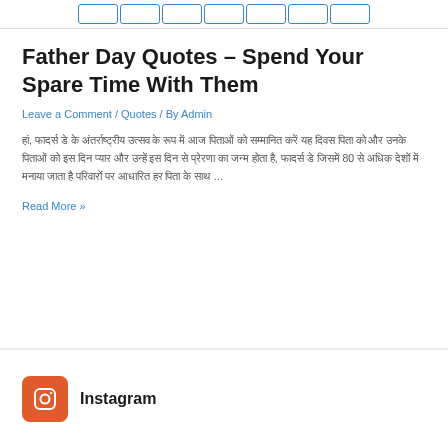[Navigation pills row]
Father Day Quotes – Spend Your Spare Time With Them
Leave a Comment / Quotes / By Admin
हां, फादर्स डे के अंतर्राष्ट्रीय उत्सव के रूप में आज पिताओं को सम्मानित करें यह दिवस पिता को और उनके पिताओं को इस दिन प्यार और उन्हें इस दिन से प्रेरणा का जन्म होता है, फादर्स डे जिसमें 80 से अधिक देशों में मनाया जाता है परिवारों पर आधारित हर पिता के साथ …
Read More »
[Figure (logo): Instagram icon - orange/red rounded square with camera icon outline]